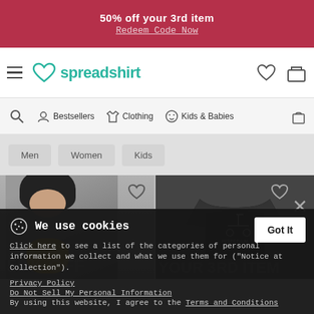50% off your 3rd item
Redeem Code Now
[Figure (screenshot): Spreadshirt navigation bar with hamburger menu, heart logo, brand name, wishlist heart icon, and shopping cart icon]
[Figure (screenshot): Category navigation bar with search icon, Bestsellers, Clothing, Kids & Babies, and bag icon]
[Figure (screenshot): Filter tabs: Men, Women, Kids]
[Figure (screenshot): Product thumbnails: woman wearing sweatshirt on left with heart icon, black raglan T-shirt with Perpetuum Mobile text on right with heart and X icons, 50% OFF YOUR 3RD ITEM promo overlay]
We use cookies
Click here to see a list of the categories of personal information we collect and what we use them for ("Notice at Collection").
Privacy Policy
Do Not Sell My Personal Information
By using this website, I agree to the Terms and Conditions